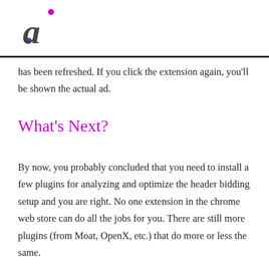[Figure (logo): Stylized lowercase letter 'a' with purple/magenta color and two dots, forming a logo on white background]
has been refreshed. If you click the extension again, you'll be shown the actual ad.
What's Next?
By now, you probably concluded that you need to install a few plugins for analyzing and optimize the header bidding setup and you are right. No one extension in the chrome web store can do all the jobs for you. There are still more plugins (from Moat, OpenX, etc.) that do more or less the same.